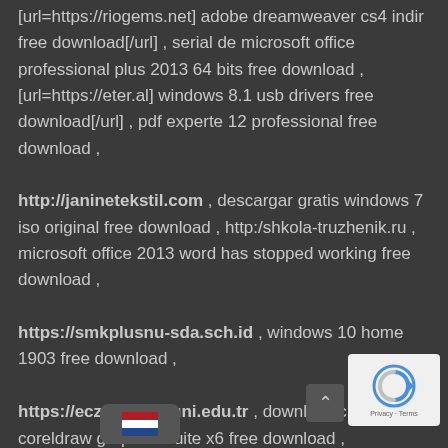[url=https://riogems.net] adobe dreamweaver cs4 indir free download[/url] , serial de microsoft office professional plus 2013 64 bits free download ,[url=https://eter.al] windows 8.1 usb drivers free download[/url] , pdf experte 12 professional free download , http://janinetekstil.com , descargar gratis windows 7 iso original free download , http:/shkola-truzhenik.ru , microsoft office 2013 word has stopped working free download , https://smkplusnu-sda.sch.id , windows 10 home 1903 free download , https://eczacilik.biruni.edu.tr , download c... coreldraw graphics suite x6 free download ,